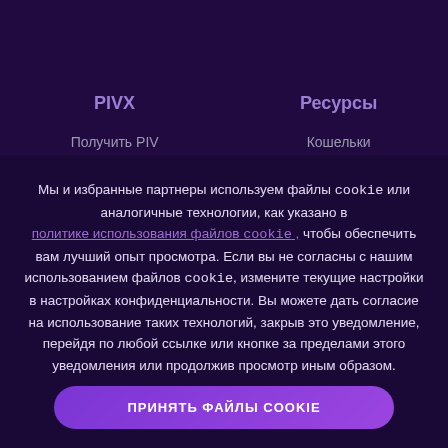PIVX
Ресурсы
Получить PIV
Кошельки
Мы и избранные партнеры используем файлы cookie или аналогичные технологии, как указано в политике использования файлов cookie, чтобы обеспечить вам лучший опыт просмотра. Если вы не согласны с нашим использованием файлов cookie, измените текущие настройки в настройках конфиденциальности. Вы можете дать согласие на использование таких технологий, закрыв это уведомление, перейдя по любой ссылке или кнопке за пределами этого уведомления или продолжив просмотр иным образом.
ПРИНЯТЬ ФАЙЛЫ COOKIE